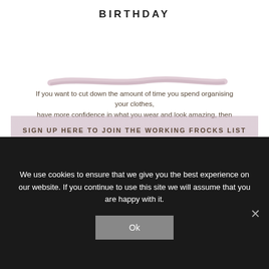BIRTHDAY
[Figure (illustration): Pink/mauve hand-drawn brush stroke decoration above sign-up text]
If you want to cut down the amount of time you spend organising your clothes, have more confidence in what you wear and look amazing, then
SIGN UP HERE TO JOIN THE WORKING FROCKS LIST
[Figure (illustration): Pink/mauve hand-drawn brush stroke decoration below sign-up button]
Clothes every woman should have – what's in your wardrobe?
Next you look in your wardrobe and see what items you
We use cookies to ensure that we give you the best experience on our website. If you continue to use this site we will assume that you are happy with it.
Ok